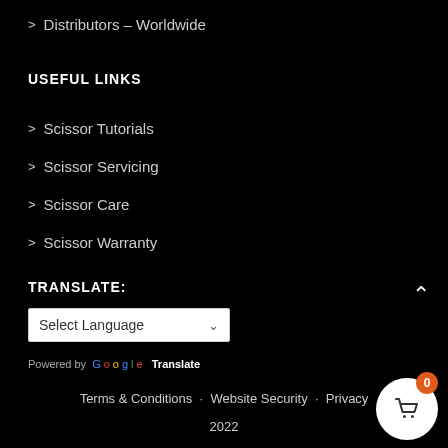> Distributors – Worldwide
USEFUL LINKS
> Scissor Tutorials
> Scissor Servicing
> Scissor Care
> Scissor Warranty
TRANSLATE:
Select Language
Powered by Google Translate
Terms & Conditions · Website Security · Privacy 2022